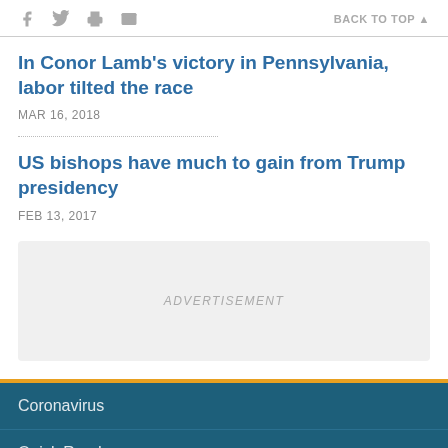Social share icons and BACK TO TOP
In Conor Lamb's victory in Pennsylvania, labor tilted the race
MAR 16, 2018
US bishops have much to gain from Trump presidency
FEB 13, 2017
[Figure (other): Advertisement placeholder box with text ADVERTISEMENT]
Coronavirus
Quick Reads